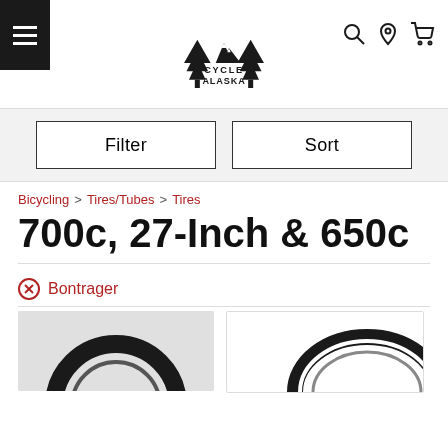[Figure (logo): Cycle Alaska logo with pine trees and mountains]
Filter
Sort
Bicycling > Tires/Tubes > Tires
700c, 27-Inch & 650c
⊗ Bontrager
[Figure (photo): Bicycle tire product image 1]
[Figure (photo): Bicycle tire product image 2]